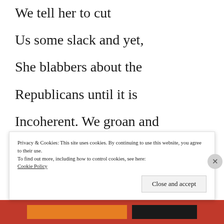We tell her to cut
Us some slack and yet,
She blabbers about the
Republicans until it is
Incoherent. We groan and
Instantaneously become
Ignorant of her words and
Privacy & Cookies: This site uses cookies. By continuing to use this website, you agree to their use.
To find out more, including how to control cookies, see here:
Cookie Policy
Close and accept